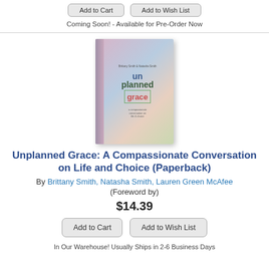Coming Soon! - Available for Pre-Order Now
[Figure (illustration): Book cover of 'Unplanned Grace: A Compassionate Conversation on Life and Choice' showing pastel watercolor background with un/planned/grace text and subtitle]
Unplanned Grace: A Compassionate Conversation on Life and Choice (Paperback)
By Brittany Smith, Natasha Smith, Lauren Green McAfee (Foreword by)
$14.39
Add to Cart
Add to Wish List
In Our Warehouse! Usually Ships in 2-6 Business Days